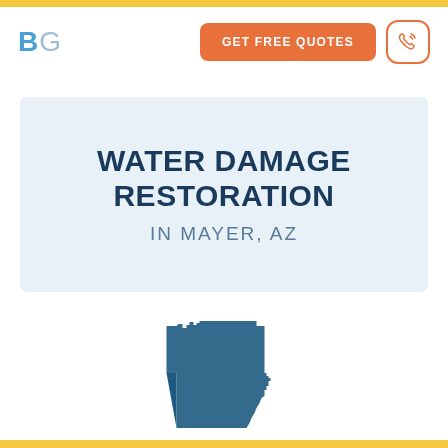[Figure (logo): BG logo with blue B and gray G letters]
[Figure (illustration): Orange rounded rectangle button with GET FREE QUOTES text]
[Figure (illustration): Phone icon in orange outlined rounded square button]
WATER DAMAGE RESTORATION
IN MAYER, AZ
[Figure (map): Dark blue silhouette shape of the state of Arizona]